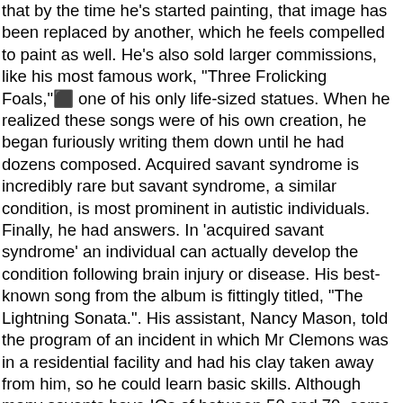that by the time he's started painting, that image has been replaced by another, which he feels compelled to paint as well. He's also sold larger commissions, like his most famous work, "Three Frolicking Foals,"  one of his only life-sized statues. When he realized these songs were of his own creation, he began furiously writing them down until he had dozens composed. Acquired savant syndrome is incredibly rare but savant syndrome, a similar condition, is most prominent in autistic individuals. Finally, he had answers. In 'acquired savant syndrome' an individual can actually develop the condition following brain injury or disease. His best-known song from the album is fittingly titled, "The Lightning Sonata.". His assistant, Nancy Mason, told the program of an incident in which Mr Clemons was in a residential facility and had his clay taken away from him, so he could learn basic skills. Although many savants have IQs of between 50 and 70, some can have above average IQ levels. "I could see the beauty of the world. Sometimes the most amazing abilities of the human brain are revealed exactly when things go wrong with it. But Clemons finished"Foals,"it is just 15 changed the beauty of it...